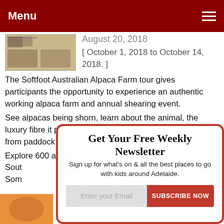Menu
August 20, 2018
[ October 1, 2018 to October 14, 2018. ]
The Softfoot Australian Alpaca Farm tour gives participants the opportunity to experience an authentic working alpaca farm and annual shearing event.
See alpacas being shorn, learn about the animal, the luxury fibre it produces, and the entire production process from paddock to product.
Explore 600 acres in the picturesque Hindmarsh Valley, Sout
Som
Get Your Free Weekly Newsletter
Sign up for what's on & all the best places to go with kids around Adelaide.
Enter your Email
SUBSCRIBE NOW